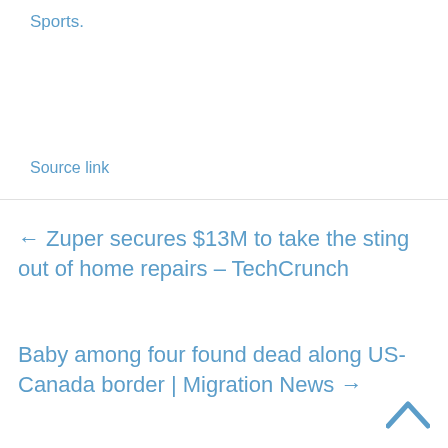Sports.
Source link
← Zuper secures $13M to take the sting out of home repairs – TechCrunch
Baby among four found dead along US-Canada border | Migration News →